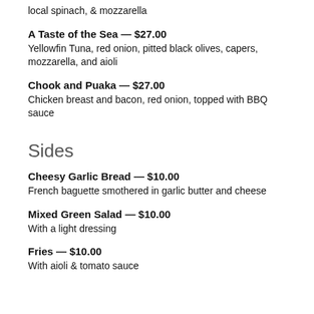local spinach, & mozzarella
A Taste of the Sea — $27.00
Yellowfin Tuna, red onion, pitted black olives, capers, mozzarella, and aioli
Chook and Puaka — $27.00
Chicken breast and bacon, red onion, topped with BBQ sauce
Sides
Cheesy Garlic Bread — $10.00
French baguette smothered in garlic butter and cheese
Mixed Green Salad — $10.00
With a light dressing
Fries — $10.00
With aioli & tomato sauce